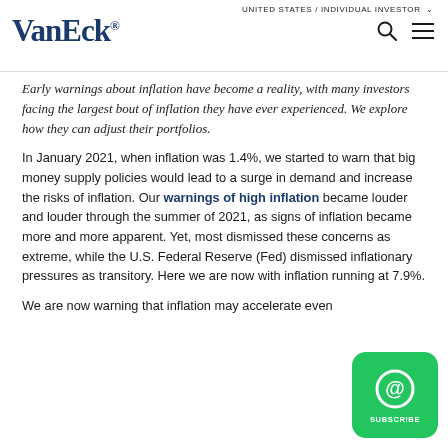UNITED STATES / INDIVIDUAL INVESTOR  VanEck®
Early warnings about inflation have become a reality, with many investors facing the largest bout of inflation they have ever experienced. We explore how they can adjust their portfolios.
In January 2021, when inflation was 1.4%, we started to warn that big money supply policies would lead to a surge in demand and increase the risks of inflation. Our warnings of high inflation became louder and louder through the summer of 2021, as signs of inflation became more and more apparent. Yet, most dismissed these concerns as extreme, while the U.S. Federal Reserve (Fed) dismissed inflationary pressures as transitory. Here we are now with inflation running at 7.9%.
We are now warning that inflation may accelerate even